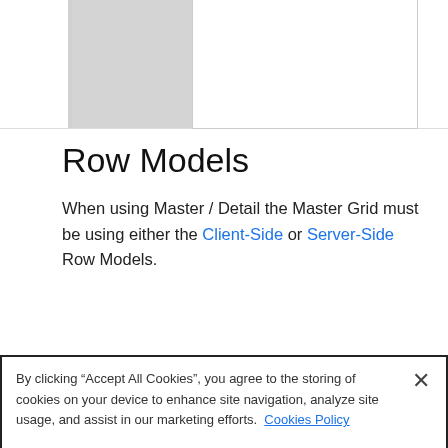[Figure (screenshot): Partial screenshot showing a gray box and white content area from a web grid component]
Row Models
When using Master / Detail the Master Grid must be using either the Client-Side or Server-Side Row Models.
By clicking “Accept All Cookies”, you agree to the storing of cookies on your device to enhance site navigation, analyze site usage, and assist in our marketing efforts.  Cookies Policy
Cookies Settings
Reject All
Accept All Cookies